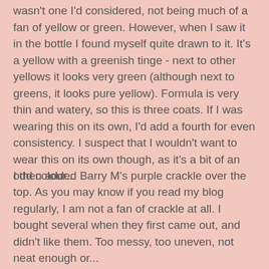wasn't one I'd considered, not being much of a fan of yellow or green. However, when I saw it in the bottle I found myself quite drawn to it.  It's a yellow with a greenish tinge - next to other yellows it looks very green (although next to greens, it looks pure yellow).  Formula is very thin and watery, so this is three coats. If I was wearing this on its own, I'd add a fourth for even consistency. I suspect that I wouldn't want to wear this on its own though, as it's a bit of an odd colour...
I then added Barry M's purple crackle over the top. As you may know if you read my blog regularly, I am not a fan of crackle at all. I bought several when they first came out, and didn't like them. Too messy, too uneven, not neat enough or...